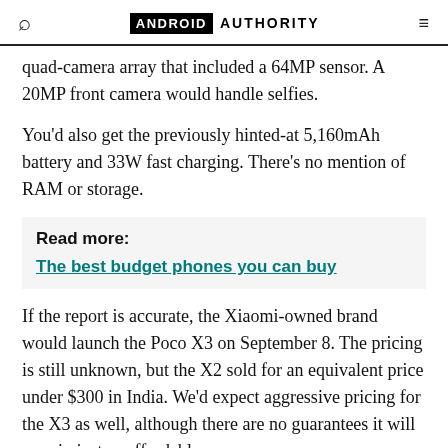ANDROID AUTHORITY
quad-camera array that included a 64MP sensor. A 20MP front camera would handle selfies.
You'd also get the previously hinted-at 5,160mAh battery and 33W fast charging. There's no mention of RAM or storage.
Read more: The best budget phones you can buy
If the report is accurate, the Xiaomi-owned brand would launch the Poco X3 on September 8. The pricing is still unknown, but the X2 sold for an equivalent price under $300 in India. We'd expect aggressive pricing for the X3 as well, although there are no guarantees it will remain just as affordable.